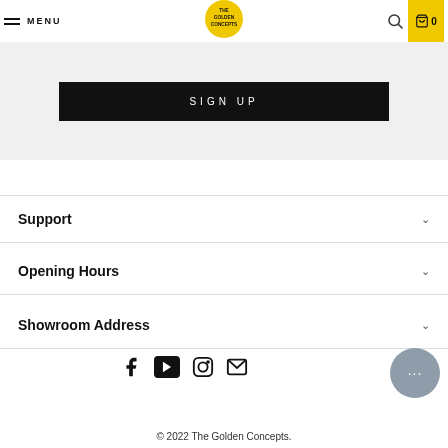MENU | THE GOLDEN CONCEPTS | 0
SIGN UP
Support
Opening Hours
Showroom Address
[Figure (other): Social media icons: Facebook, YouTube, Instagram, Email]
© 2022 The Golden Concepts.